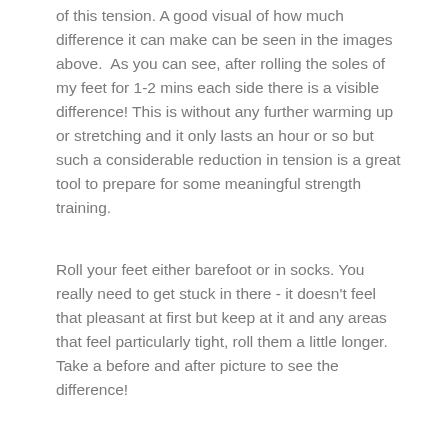of this tension. A good visual of how much difference it can make can be seen in the images above.  As you can see, after rolling the soles of my feet for 1-2 mins each side there is a visible difference! This is without any further warming up or stretching and it only lasts an hour or so but such a considerable reduction in tension is a great tool to prepare for some meaningful strength training.
Roll your feet either barefoot or in socks. You really need to get stuck in there - it doesn't feel that pleasant at first but keep at it and any areas that feel particularly tight, roll them a little longer. Take a before and after picture to see the difference!